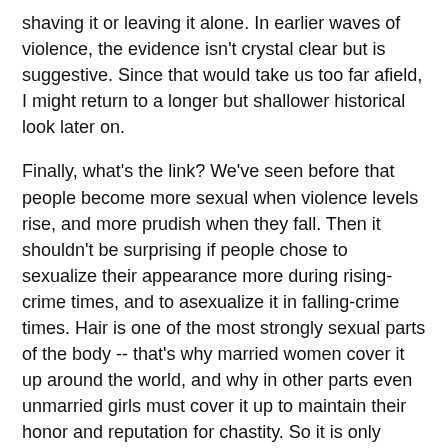shaving it or leaving it alone. In earlier waves of violence, the evidence isn't crystal clear but is suggestive. Since that would take us too far afield, I might return to a longer but shallower historical look later on.
Finally, what's the link? We've seen before that people become more sexual when violence levels rise, and more prudish when they fall. Then it shouldn't be surprising if people chose to sexualize their appearance more during rising-crime times, and to asexualize it in falling-crime times. Hair is one of the most strongly sexual parts of the body -- that's why married women cover it up around the world, and why in other parts even unmarried girls must cover it up to maintain their honor and reputation for chastity. So it is only fitting that they would try to minimize their hair in safer times. A flowing mane of hair and a full bush might give men the idea that she's more of a wild animal than her otherwise hairless skin had let on. That's the last thought you want to give men in safer-prudish times, although you might well choose to play it up in dangerous-wilder times.
The topic for future research (not by me) is what's been